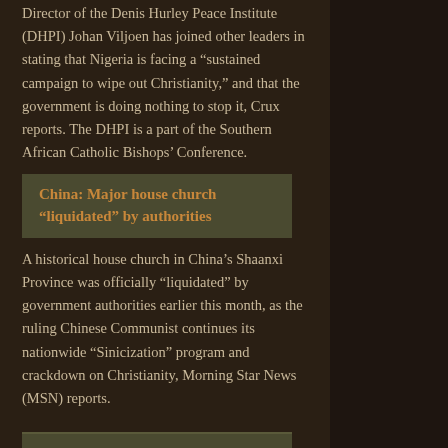Director of the Denis Hurley Peace Institute (DHPI) Johan Viljoen has joined other leaders in stating that Nigeria is facing a “sustained campaign to wipe out Christianity,” and that the government is doing nothing to stop it, Crux reports. The DHPI is a part of the Southern African Catholic Bishops’ Conference.
China: Major house church “liquidated” by authorities
A historical house church in China’s Shaanxi Province was officially “liquidated” by government authorities earlier this month, as the ruling Chinese Communist continues its nationwide “Sinicization” program and crackdown on Christianity, Morning Star News (MSN) reports.